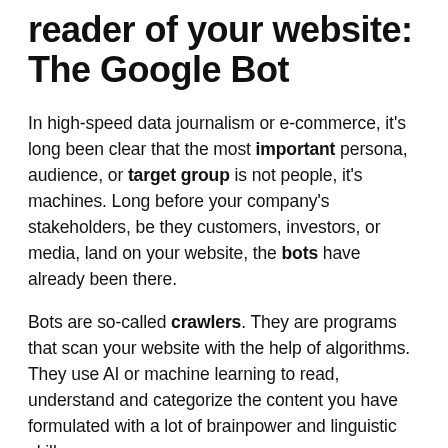reader of your website: The Google Bot
In high-speed data journalism or e-commerce, it's long been clear that the most important persona, audience, or target group is not people, it's machines. Long before your company's stakeholders, be they customers, investors, or media, land on your website, the bots have already been there.
Bots are so-called crawlers. They are programs that scan your website with the help of algorithms. They use AI or machine learning to read, understand and categorize the content you have formulated with a lot of brainpower and linguistic skill.
Search engines such as the quasi-monopolist Google